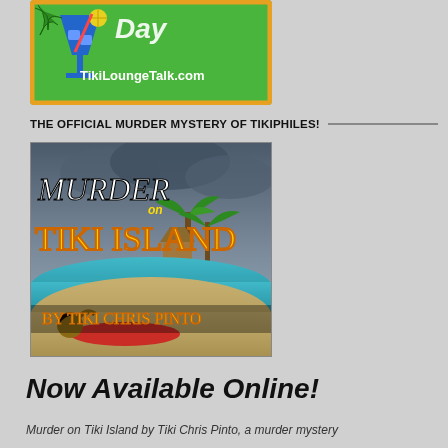[Figure (illustration): Tiki lounge banner with cocktail glass, palm tree illustration, text 'Day' and 'TikiLoungeTalk.com' on a green background with yellow border]
THE OFFICIAL MURDER MYSTERY OF TIKIPHILES!
[Figure (illustration): Book cover for 'Murder on Tiki Island by Tiki Chris Pinto' showing tropical island beach scene with woman in red dress lying on beach, stormy sky, palm trees, ocean]
Now Available Online!
Murder on Tiki Island by Tiki Chris Pinto, a murder mystery